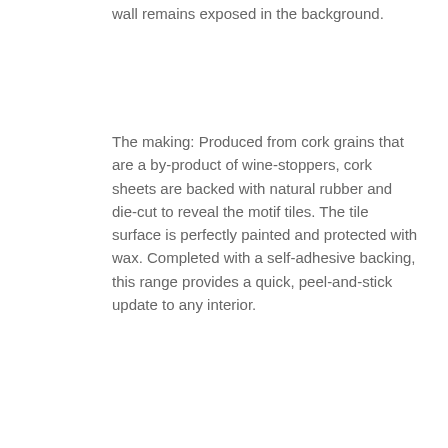wall remains exposed in the background.
The making: Produced from cork grains that are a by-product of wine-stoppers, cork sheets are backed with natural rubber and die-cut to reveal the motif tiles. The tile surface is perfectly painted and protected with wax. Completed with a self-adhesive backing, this range provides a quick, peel-and-stick update to any interior.